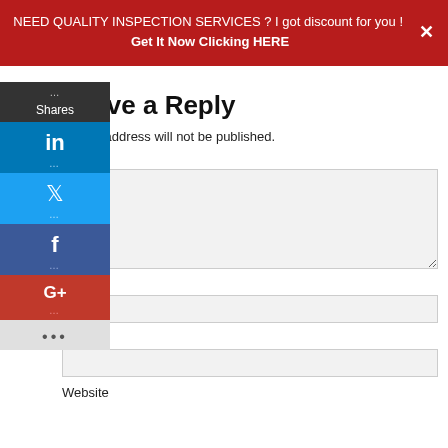NEED QUALITY INSPECTION SERVICES ? I got discount for you ! Get It Now Clicking HERE
[Figure (infographic): Social share sidebar with Shares count, LinkedIn, Twitter, Facebook, Google+, and more buttons]
Leave a Reply
r email address will not be published.
nment
ne *
Email *
Website